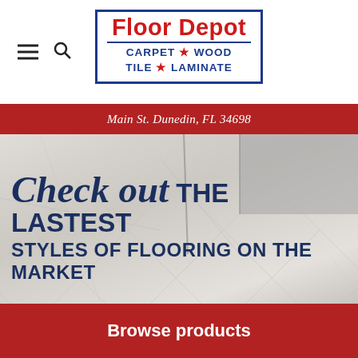[Figure (logo): Floor Depot logo with red text 'Floor Depot' and blue text 'CARPET * WOOD / TILE * LAMINATE' inside a blue border box]
Main St. Dunedin, FL 34698
[Figure (photo): Hero image of marble/tile flooring with geometric diamond pattern, showing a glass partition and floor area in a showroom]
Check out THE LASTEST STYLES OF FLOORING ON THE MARKET
Browse products